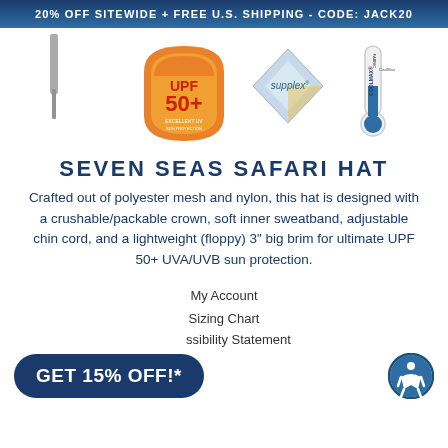20% OFF SITEWIDE + FREE U.S. SHIPPING - CODE: JACK20
[Figure (logo): UPF 50+ Excellent UV Protection badge (orange/red shield shape), Supplex fabric logo (diamond shape), CoolMax fabric logo (thermometer shape)]
SEVEN SEAS SAFARI HAT
Crafted out of polyester mesh and nylon, this hat is designed with a crushable/packable crown, soft inner sweatband, adjustable chin cord, and a lightweight (floppy) 3" big brim for ultimate UPF 50+ UVA/UVB sun protection.
My Account
Sizing Chart
Accessibility Statement
[Figure (infographic): GET 15% OFF!* promotional button (dark navy rounded rectangle) and accessibility icon (circle with person figure)]